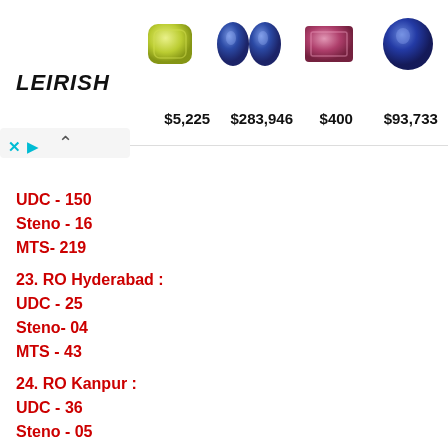LEIRISH | $5,225 | $283,946 | $400 | $93,733
UDC - 150
Steno - 16
MTS- 219
23. RO Hyderabad :
UDC - 25
Steno- 04
MTS - 43
24. RO Kanpur :
UDC - 36
Steno - 05
MTS - 119
25. RO Dehradun :
UDC- 09
Steno - 01
MTS - 17